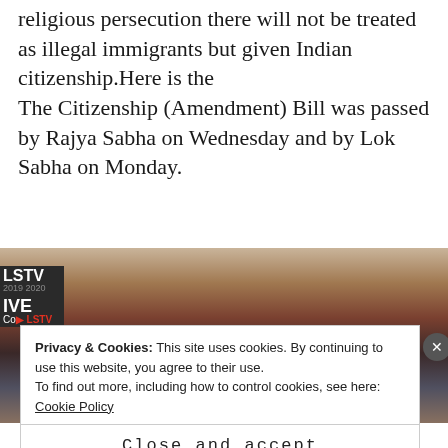religious persecution there will not be treated as illegal immigrants but given Indian citizenship.Here is the The Citizenship (Amendment) Bill was passed by Rajya Sabha on Wednesday and by Lok Sabha on Monday.
[Figure (photo): Screenshot of a live TV broadcast (LSTV) showing the Indian Parliament (Lok Sabha) session in progress, with members seated.]
Privacy & Cookies: This site uses cookies. By continuing to use this website, you agree to their use.
To find out more, including how to control cookies, see here:
Cookie Policy
Close and accept